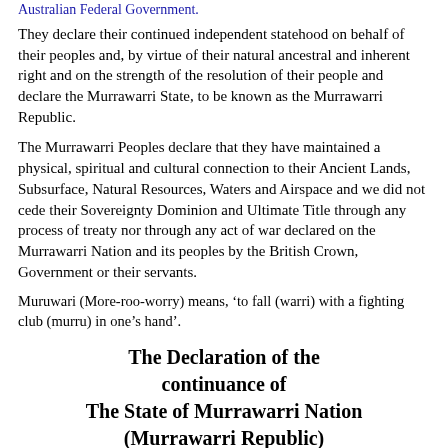Australian Federal Government.
They declare their continued independent statehood on behalf of their peoples and, by virtue of their natural ancestral and inherent right and on the strength of the resolution of their people and declare the Murrawarri State, to be known as the Murrawarri Republic.
The Murrawarri Peoples declare that they have maintained a physical, spiritual and cultural connection to their Ancient Lands, Subsurface, Natural Resources, Waters and Airspace and we did not cede their Sovereignty Dominion and Ultimate Title through any process of treaty nor through any act of war declared on the Murrawarri Nation and its peoples by the British Crown, Government or their servants.
Muruwari (More-roo-worry) means, 'to fall (warri) with a fighting club (murru) in one's hand'.
The Declaration of the continuance of The State of Murrawarri Nation (Murrawarri Republic)